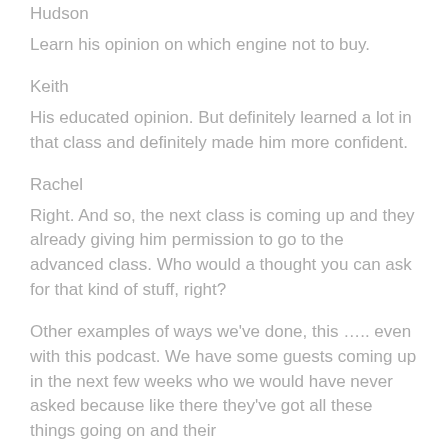Hudson
Learn his opinion on which engine not to buy.
Keith
His educated opinion. But definitely learned a lot in that class and definitely made him more confident.
Rachel
Right. And so, the next class is coming up and they already giving him permission to go to the advanced class. Who would a thought you can ask for that kind of stuff, right?
Other examples of ways we've done, this ….. even with this podcast. We have some guests coming up in the next few weeks who we would have never asked because like there they've got all these things going on and their